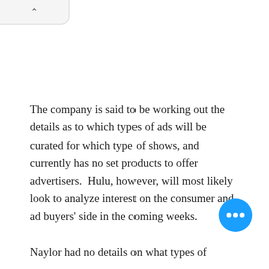The company is said to be working out the details as to which types of ads will be curated for which type of shows, and currently has no set products to offer advertisers.  Hulu, however, will most likely look to analyze interest on the consumer and ad buyers' side in the coming weeks.
[Figure (other): Blue circular FAB button with three white dots (ellipsis/more options icon)]
Naylor had no details on what types of